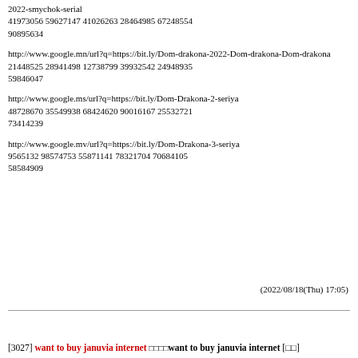2022-smychok-serial
41973056 59627147 41026263 28464985 67248554
90895634
http://www.google.mn/url?q=https://bit.ly/Dom-drakona-2022-Dom-drakona-Dom-drakona
21448525 28941498 12738799 39932542 24948935
59846047
http://www.google.ms/url?q=https://bit.ly/Dom-Drakona-2-seriya
48728670 35549938 68424620 90016167 25532721
73414239
http://www.google.mv/url?q=https://bit.ly/Dom-Drakona-3-seriya
9565132 98574753 55871141 78321704 70684105
58584909
(2022/08/18(Thu) 17:05)
[3027] want to buy januvia internet □□□□want to buy januvia internet [□□]